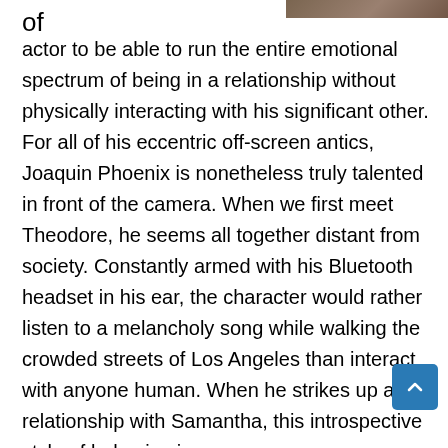[Figure (photo): Partial view of a photograph at the top right of the page, showing what appears to be a person, cropped to a narrow strip.]
of actor to be able to run the entire emotional spectrum of being in a relationship without physically interacting with his significant other. For all of his eccentric off-screen antics, Joaquin Phoenix is nonetheless truly talented in front of the camera. When we first meet Theodore, he seems all together distant from society. Constantly armed with his Bluetooth headset in his ear, the character would rather listen to a melancholy song while walking the crowded streets of Los Angeles than interact with anyone human. When he strikes up a relationship with Samantha, this introspective style of behaving is only heightened. Without anyone physical to latch on